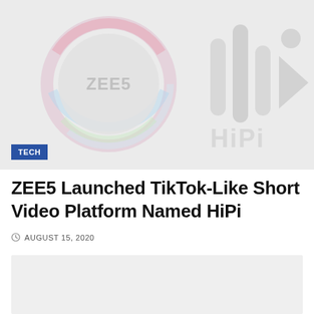[Figure (illustration): Header image with ZEE5 logo (circular rainbow logo with ZEE5 text) and HiPi logo (stylized text with bars and play button icon) on a light grey background. A blue TECH badge overlays the bottom-left corner.]
ZEE5 Launched TikTok-Like Short Video Platform Named HiPi
AUGUST 15, 2020
[Figure (photo): A second image area, light grey, partially visible at the bottom of the page.]